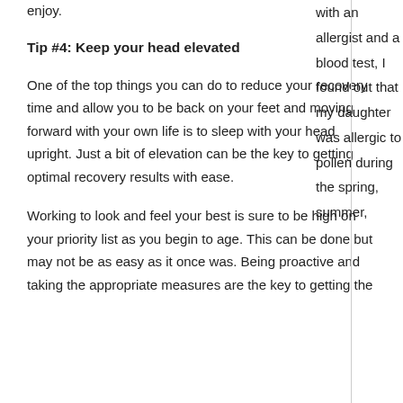enjoy.
Tip #4: Keep your head elevated
One of the top things you can do to reduce your recovery time and allow you to be back on your feet and moving forward with your own life is to sleep with your head upright. Just a bit of elevation can be the key to getting optimal recovery results with ease.
Working to look and feel your best is sure to be high on your priority list as you begin to age. This can be done but may not be as easy as it once was. Being proactive and taking the appropriate measures are the key to getting the
with an allergist and a blood test, I found out that my daughter was allergic to pollen during the spring, summer,